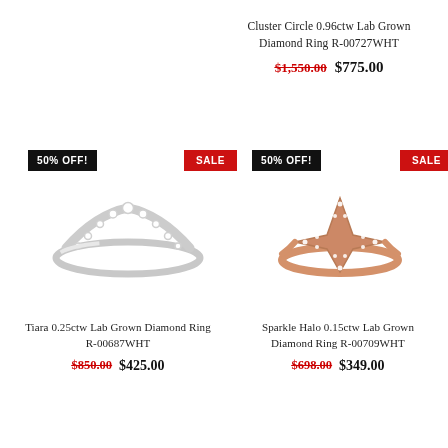Cluster Circle 0.96ctw Lab Grown Diamond Ring R-00727WHT
$1,550.00  $775.00
[Figure (photo): White gold tiara-style chevron diamond ring with pavé set diamonds]
[Figure (photo): Rose gold sparkle halo 4-pointed star diamond ring]
Tiara 0.25ctw Lab Grown Diamond Ring R-00687WHT
$850.00  $425.00
Sparkle Halo 0.15ctw Lab Grown Diamond Ring R-00709WHT
$698.00  $349.00